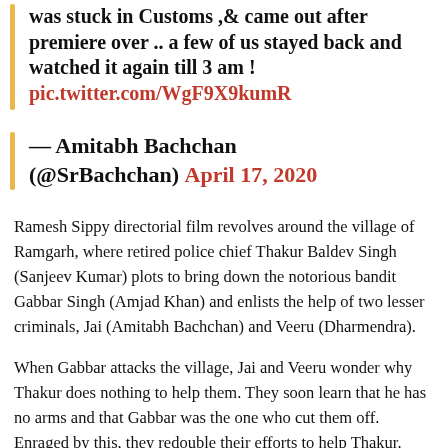was stuck in Customs ,& came out after premiere over .. a few of us stayed back and watched it again till 3 am ! pic.twitter.com/WgF9X9kumR
— Amitabh Bachchan (@SrBachchan) April 17, 2020
Ramesh Sippy directorial film revolves around the village of Ramgarh, where retired police chief Thakur Baldev Singh (Sanjeev Kumar) plots to bring down the notorious bandit Gabbar Singh (Amjad Khan) and enlists the help of two lesser criminals, Jai (Amitabh Bachchan) and Veeru (Dharmendra).
When Gabbar attacks the village, Jai and Veeru wonder why Thakur does nothing to help them. They soon learn that he has no arms and that Gabbar was the one who cut them off. Enraged by this, they redouble their efforts to help Thakur.